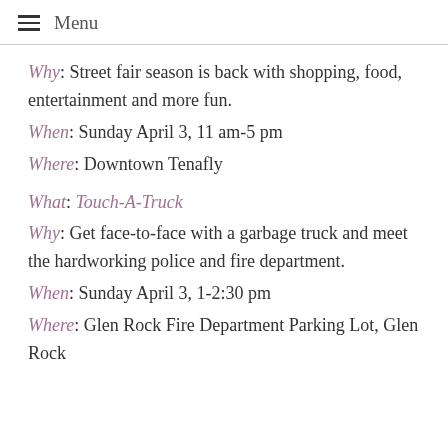Menu
Why: Street fair season is back with shopping, food, entertainment and more fun.
When: Sunday April 3, 11 am-5 pm
Where: Downtown Tenafly
What: Touch-A-Truck
Why: Get face-to-face with a garbage truck and meet the hardworking police and fire department.
When: Sunday April 3, 1-2:30 pm
Where: Glen Rock Fire Department Parking Lot, Glen Rock